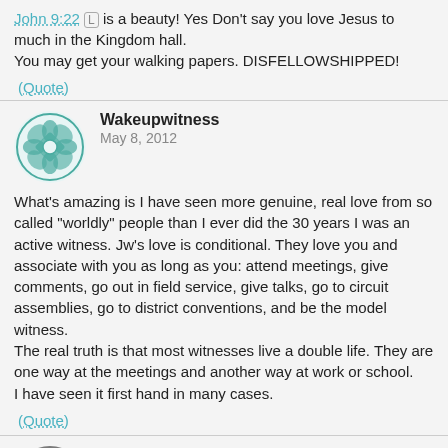John 9:22 [L] is a beauty! Yes Don't say you love Jesus to much in the Kingdom hall.
You may get your walking papers. DISFELLOWSHIPPED!
(Quote)
Wakeupwitness
May 8, 2012
What's amazing is I have seen more genuine, real love from so called "worldly" people than I ever did the 30 years I was an active witness. Jw's love is conditional. They love you and associate with you as long as you: attend meetings, give comments, go out in field service, give talks, go to circuit assemblies, go to district conventions, and be the model witness.
The real truth is that most witnesses live a double life. They are one way at the meetings and another way at work or school.
I have seen it first hand in many cases.
(Quote)
Dennis Parker
May 12, 2012